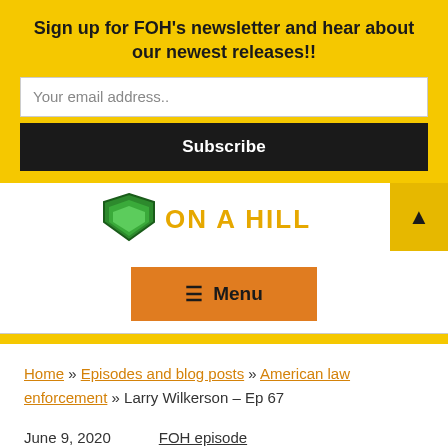Sign up for FOH's newsletter and hear about our newest releases!!
Your email address..
Subscribe
[Figure (logo): Partial logo showing green shield and text 'ON A HILL' in yellow/orange]
☰ Menu
Home » Episodes and blog posts » American law enforcement » Larry Wilkerson – Ep 67
June 9, 2020    FOH episode